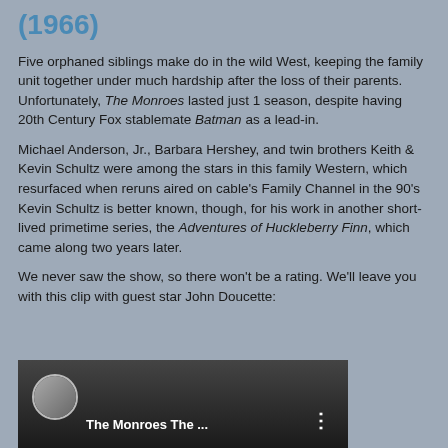(1966)
Five orphaned siblings make do in the wild West, keeping the family unit together under much hardship after the loss of their parents. Unfortunately, The Monroes lasted just 1 season, despite having 20th Century Fox stablemate Batman as a lead-in.
Michael Anderson, Jr., Barbara Hershey, and twin brothers Keith & Kevin Schultz were among the stars in this family Western, which resurfaced when reruns aired on cable's Family Channel in the 90's  Kevin Schultz is better known, though, for his work in another short-lived primetime series, the Adventures of Huckleberry Finn, which came along two years later.
We never saw the show, so there won't be a rating. We'll leave you with this clip with guest star John Doucette:
[Figure (screenshot): Video thumbnail showing The Monroes TV show clip with a circular profile image on the left and text 'The Monroes The ...' in white on a dark background]